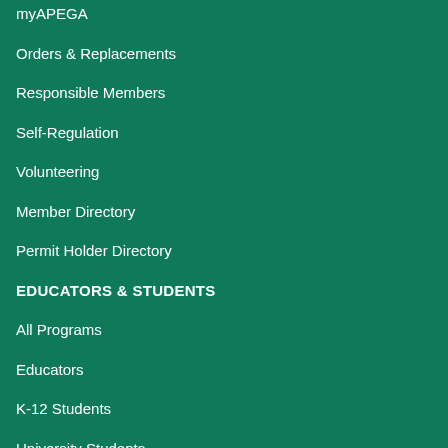myAPEGA
Orders & Replacements
Responsible Members
Self-Regulation
Volunteering
Member Directory
Permit Holder Directory
EDUCATORS & STUDENTS
All Programs
Educators
K-12 Students
University Students
ABOUT APEGA
About APEGA